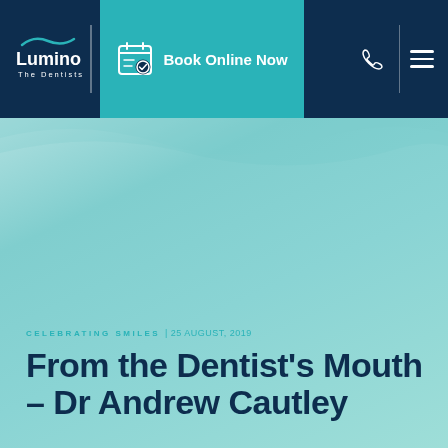Lumino The Dentists | Book Online Now
CELEBRATING SMILES | 25 August, 2019
From the Dentist's Mouth – Dr Andrew Cautley